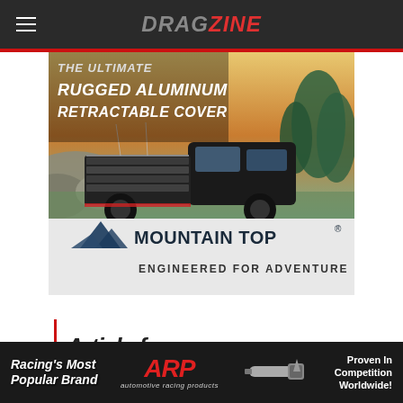DRAGZINE
[Figure (photo): Mountain Top advertisement showing a truck with an aluminum retractable bed cover in an outdoor/mountain setting. Text reads: THE ULTIMATE RUGGED ALUMINUM RETRACTABLE COVER. Mountain Top logo with mountain peak graphic and tagline ENGINEERED FOR ADVENTURE.]
[Figure (advertisement): ARP (Automotive Racing Products) banner ad. Text: Racing's Most Popular Brand | ARP automotive racing products logo | Proven In Competition Worldwide!]